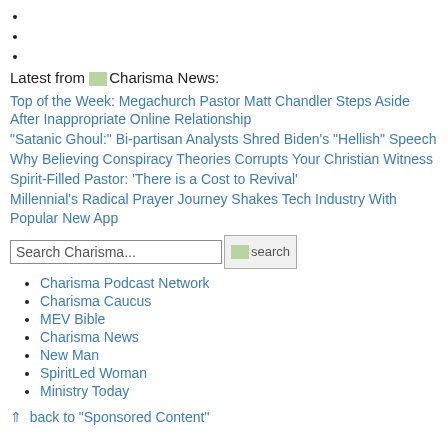Latest from Charisma News:
Top of the Week: Megachurch Pastor Matt Chandler Steps Aside After Inappropriate Online Relationship
"Satanic Ghoul:" Bi-partisan Analysts Shred Biden's "Hellish" Speech
Why Believing Conspiracy Theories Corrupts Your Christian Witness
Spirit-Filled Pastor: 'There is a Cost to Revival'
Millennial's Radical Prayer Journey Shakes Tech Industry With Popular New App
Search Charisma...
Charisma Podcast Network
Charisma Caucus
MEV Bible
Charisma News
New Man
SpiritLed Woman
Ministry Today
⇑  back to "Sponsored Content"